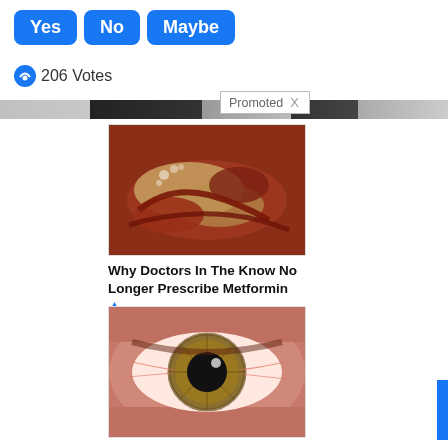Yes  No  Maybe
206 Votes
Promoted X
[Figure (photo): Close-up medical/biological image showing internal organ tissue, possibly intestinal or pancreatic, with yellowish-white elongated structure against reddish-pink tissue]
Why Doctors In The Know No Longer Prescribe Metformin
114,543
[Figure (photo): Extreme close-up macro photograph of a human eye showing detailed iris with greenish-brown color and visible blood vessels in the sclera (white of eye)]
How Your Body Warns You That Dementia Is Forming
40,995